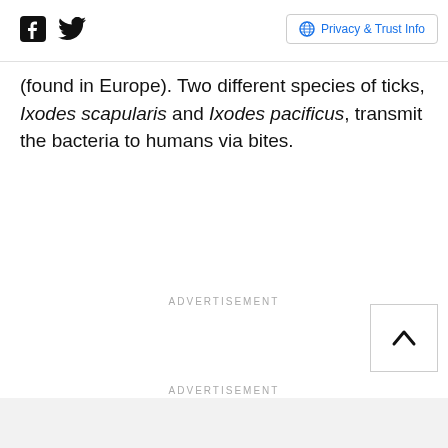Facebook | Twitter | Privacy & Trust Info
(found in Europe). Two different species of ticks, Ixodes scapularis and Ixodes pacificus, transmit the bacteria to humans via bites.
ADVERTISEMENT
ADVERTISEMENT